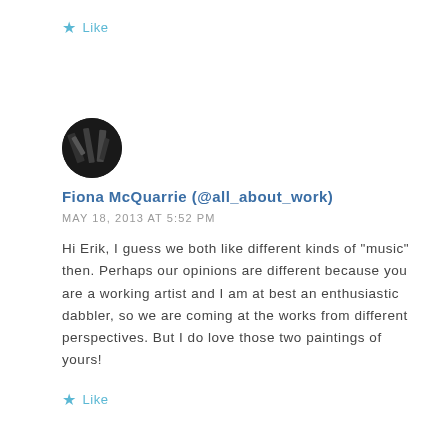Like
[Figure (photo): Circular avatar photo of Fiona McQuarrie, dark background with abstract content]
Fiona McQuarrie (@all_about_work)
MAY 18, 2013 AT 5:52 PM
Hi Erik, I guess we both like different kinds of "music" then. Perhaps our opinions are different because you are a working artist and I am at best an enthusiastic dabbler, so we are coming at the works from different perspectives. But I do love those two paintings of yours!
Like